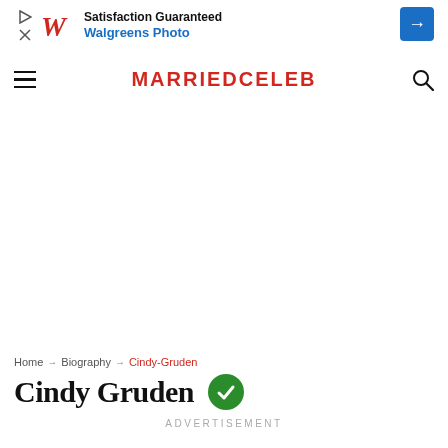[Figure (screenshot): Walgreens Photo advertisement banner showing W logo, 'Satisfaction Guaranteed' text, 'Walgreens Photo' in blue, and a blue diamond arrow icon]
MARRIEDCELEB
Home → Biography → Cindy-Gruden
Cindy Gruden
ADVERTISEMENT